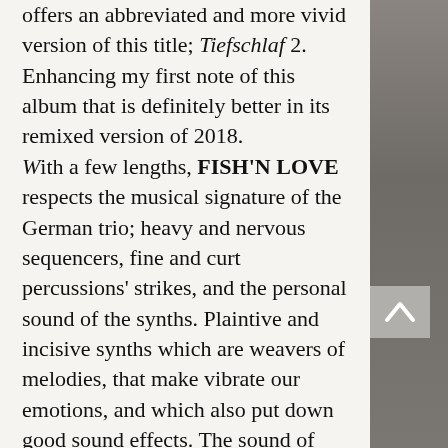offers an abbreviated and more vivid version of this title; Tiefschlaf 2. Enhancing my first note of this album that is definitely better in its remixed version of 2018. With a few lengths, FISH'N LOVE respects the musical signature of the German trio; heavy and nervous sequencers, fine and curt percussions' strikes, and the personal sound of the synths. Plaintive and incisive synths which are weavers of melodies, that make vibrate our emotions, and which also put down good sound effects. The sound of Pyramid Peak synths is something unique that you have to hear at least once in your EM fan life. We